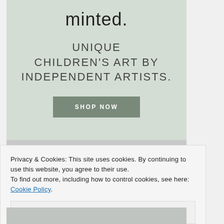[Figure (screenshot): Minted advertisement with sage green background showing logo, tagline 'UNIQUE CHILDREN'S ART BY INDEPENDENT ARTISTS.' and a 'SHOP NOW' button, with partial view of framed artwork at bottom]
Privacy & Cookies: This site uses cookies. By continuing to use this website, you agree to their use.
To find out more, including how to control cookies, see here: Cookie Policy
Close and accept